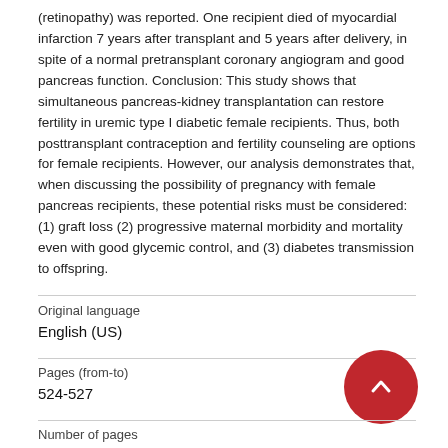(retinopathy) was reported. One recipient died of myocardial infarction 7 years after transplant and 5 years after delivery, in spite of a normal pretransplant coronary angiogram and good pancreas function. Conclusion: This study shows that simultaneous pancreas-kidney transplantation can restore fertility in uremic type I diabetic female recipients. Thus, both posttransplant contraception and fertility counseling are options for female recipients. However, our analysis demonstrates that, when discussing the possibility of pregnancy with female pancreas recipients, these potential risks must be considered: (1) graft loss (2) progressive maternal morbidity and mortality even with good glycemic control, and (3) diabetes transmission to offspring.
Original language
English (US)
Pages (from-to)
524-527
Number of pages